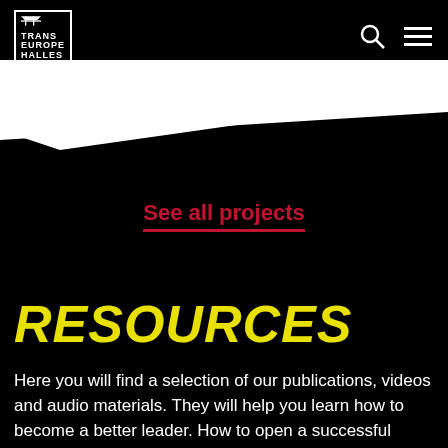[Figure (logo): Trans Europe Halles logo in white text with border, top left]
[Figure (illustration): Black and white diagonal graphic with triangular white shape cutting across black background]
See all projects
RESOURCES
Here you will find a selection of our publications, videos and audio materials. They will help you learn how to become a better leader. How to open a successful cultural venue. How to make